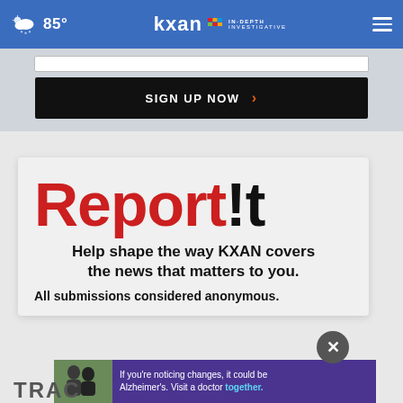85° | KXAN IN-DEPTH INVESTIGATIVE
[Figure (screenshot): SIGN UP NOW button with orange arrow on black background]
[Figure (illustration): Report!t — Help shape the way KXAN covers the news that matters to you. All submissions considered anonymous.]
[Figure (photo): Advertisement: If you're noticing changes, it could be Alzheimer's. Visit a doctor together.]
TRAC...